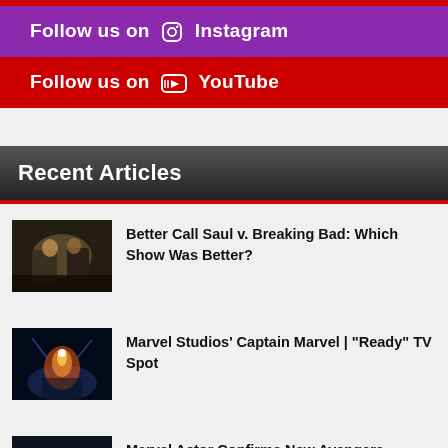Follow us on Instagram
Follow us on YouTube
Recent Articles
Better Call Saul v. Breaking Bad: Which Show Was Better?
Marvel Studios’ Captain Marvel | “Ready” TV Spot
Marvel Actor Confirms New Avengers Member for Kang Dynasty